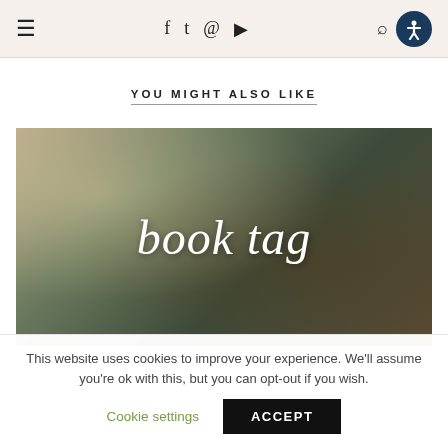≡  f  t  ⬡  ▶  🔍  ♿
YOU MIGHT ALSO LIKE
[Figure (photo): A photo showing books and decorative items with a dark overlay and white cursive text reading 'book tag']
This website uses cookies to improve your experience. We'll assume you're ok with this, but you can opt-out if you wish.
Cookie settings   ACCEPT